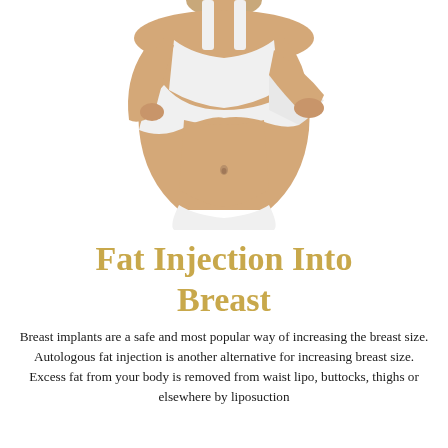[Figure (photo): Woman in white top and underwear lifting her shirt to reveal her midsection, shown from neck to hips against a white background]
Fat Injection Into Breast
Breast implants are a safe and most popular way of increasing the breast size. Autologous fat injection is another alternative for increasing breast size. Excess fat from your body is removed from waist lipo, buttocks, thighs or elsewhere by liposuction